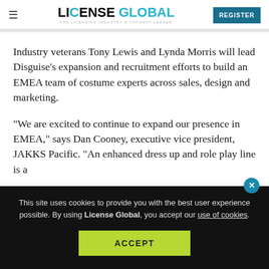LICENSE GLOBAL — THE LICENSING INDUSTRY'S THOUGHT LEADER | REGISTER
Industry veterans Tony Lewis and Lynda Morris will lead Disguise's expansion and recruitment efforts to build an EMEA team of costume experts across sales, design and marketing.
“We are excited to continue to expand our presence in EMEA,” says Dan Cooney, executive vice president, JAKKS Pacific. “An enhanced dress up and role play line is a
This site uses cookies to provide you with the best user experience possible. By using License Global, you accept our use of cookies.